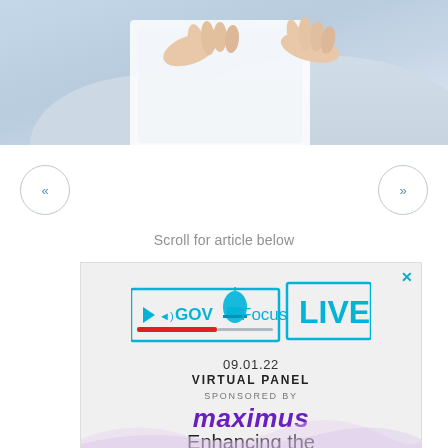[Figure (photo): A person in a white shirt holding and pointing at a document or tablet, cropped to show hands and torso against a light blue-white background.]
«
»
Scroll for article below
[Figure (infographic): Advertisement banner: GOV Focus LIVE logo with capitol building icon, date 09.01.22, VIRTUAL PANEL, SPONSORED BY maximus, Enhancing the...]